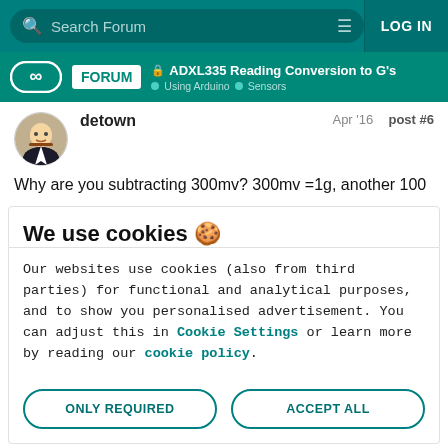Search Forum   LOG IN
ADXL335 Reading Conversion to G's | Using Arduino > Sensors
detown   Apr '16   post #6
Why are you subtracting 300mv? 300mv =1g, another 100
We use cookies 🍪
Our websites use cookies (also from third parties) for functional and analytical purposes, and to show you personalised advertisement. You can adjust this in Cookie Settings or learn more by reading our cookie policy.
ONLY REQUIRED   ACCEPT ALL